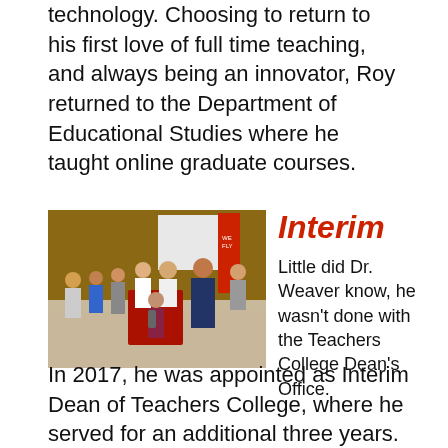technology. Choosing to return to his first love of full time teaching, and always being an innovator, Roy returned to the Department of Educational Studies where he taught online graduate courses.
[Figure (photo): Group of people mingling at an indoor reception or event. A red banner and a 'WE FLY' sign are visible in the background. People are standing and conversing around a table with a red tablecloth.]
Interim
Little did Dr. Weaver know, he wasn't done with the Teachers College Dean's Office. In 2017, he was appointed as Interim Dean of Teachers College, where he served for an additional three years. During his return to the Dean's Office, he could be seen working with many associate